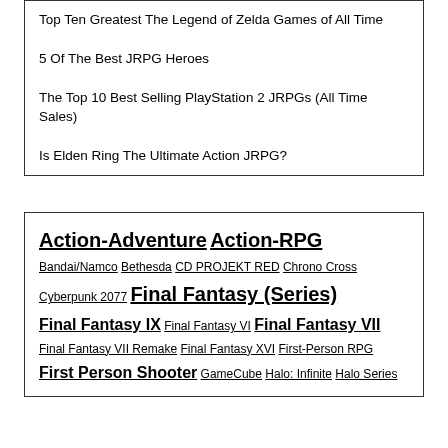Top Ten Greatest The Legend of Zelda Games of All Time
5 Of The Best JRPG Heroes
The Top 10 Best Selling PlayStation 2 JRPGs (All Time Sales)
Is Elden Ring The Ultimate Action JRPG?
Action-Adventure Action-RPG Bandai/Namco Bethesda CD PROJEKT RED Chrono Cross Cyberpunk 2077 Final Fantasy (Series) Final Fantasy IX Final Fantasy VI Final Fantasy VII Final Fantasy VII Remake Final Fantasy XVI First-Person RPG First Person Shooter GameCube Halo: Infinite Halo Series